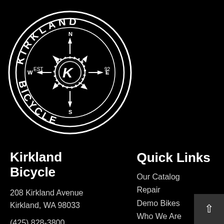[Figure (logo): Kirkland Bicycle circular logo with compass arrows and sprocket gear center, white on black background. Text reads KIRKLAND on top arc, BICYCLE on bottom arc, EST W 92 E on horizontal axis.]
Kirkland Bicycle
208 Kirkland Avenue
Kirkland, WA 98033
(425) 828-3800
Quick Links
Our Catalog
Repair
Demo Bikes
Who We Are
Blog
Your Privacy